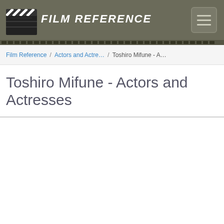Film Reference
Film Reference / Actors and Actre… / Toshiro Mifune - A…
Toshiro Mifune - Actors and Actresses